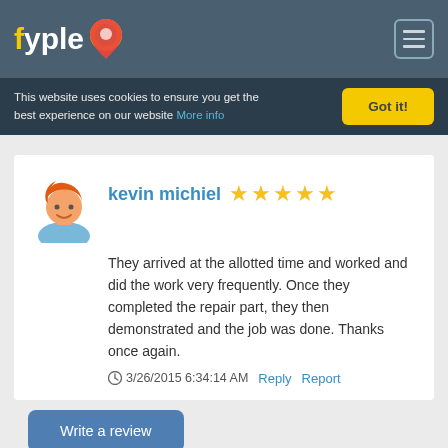fyple
This website uses cookies to ensure you get the best experience on our website More info
Got it!
kevin michiel ★★★★★
They arrived at the allotted time and worked and did the work very frequently. Once they completed the repair part, they then demonstrated and the job was done. Thanks once again.
3/26/2015 6:34:14 AM  Reply  Report
Write a review